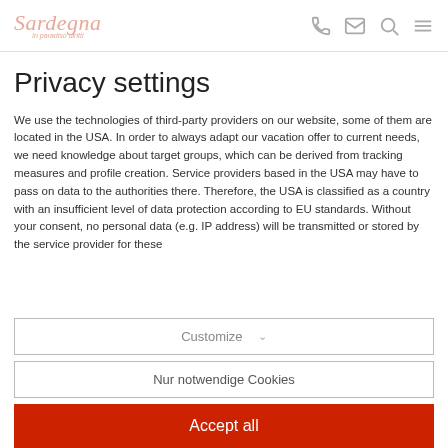Sardegna — In paradiso diritti [logo + icons]
Privacy settings
We use the technologies of third-party providers on our website, some of them are located in the USA. In order to always adapt our vacation offer to current needs, we need knowledge about target groups, which can be derived from tracking measures and profile creation. Service providers based in the USA may have to pass on data to the authorities there. Therefore, the USA is classified as a country with an insufficient level of data protection according to EU standards. Without your consent, no personal data (e.g. IP address) will be transmitted or stored by the service provider for these
Customize ∨
Nur notwendige Cookies
Accept all